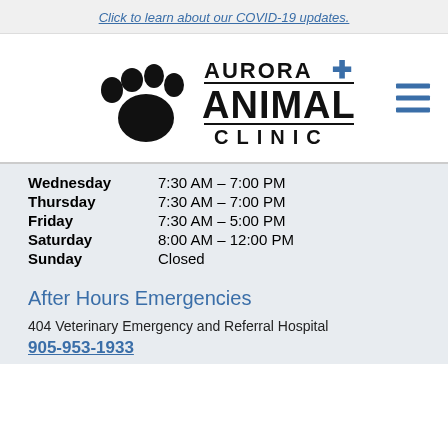Click to learn about our COVID-19 updates.
[Figure (logo): Aurora Animal Clinic logo with paw print and blue cross]
| Day | Hours |
| --- | --- |
| Wednesday | 7:30 AM – 7:00 PM |
| Thursday | 7:30 AM – 7:00 PM |
| Friday | 7:30 AM – 5:00 PM |
| Saturday | 8:00 AM – 12:00 PM |
| Sunday | Closed |
After Hours Emergencies
404 Veterinary Emergency and Referral Hospital
905-953-1933